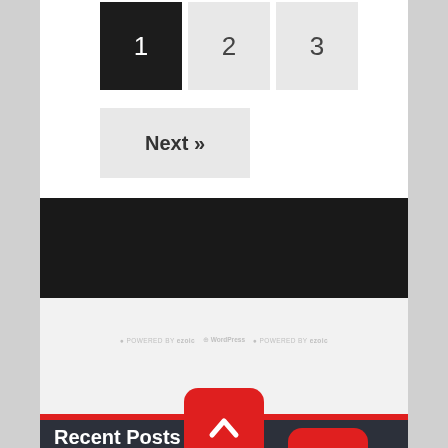1 (active/current page)
2
3
Next »
[Figure (other): Dark/black banner bar]
[Figure (logo): Powered by ezoic and WordPress logos in light gray]
[Figure (other): Red rounded square scroll-to-top button with white chevron/caret icon pointing upward]
Recent Posts
AMAZON PROHIBITS CBD SALES, BUT IT'S STILL EASY TO BUY ON THE SITE